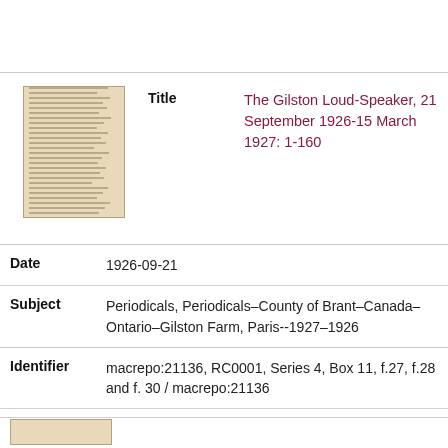[Figure (photo): Thumbnail image of a historical document page - The Gilston Loud-Speaker]
| Title | The Gilston Loud-Speaker, 21 September 1926-15 March 1927: 1-160 |
| Date | 1926-09-21 |
| Subject | Periodicals, Periodicals–County of Brant–Canada–Ontario–Gilston Farm, Paris--1927–1926 |
| Identifier | macrepo:21136, RC0001, Series 4, Box 11, f.27, f.28 and f. 30 / macrepo:21136 |
| Modat DT date | 1926-09-21T00:00:00Z |